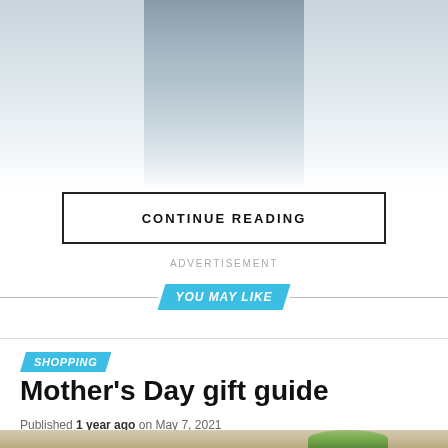[Figure (photo): Faded photo of a person in a suit, standing in what appears to be a stable or barn setting, with the image fading to white at the bottom]
CONTINUE READING
ADVERTISEMENT
YOU MAY LIKE
SHOPPING
Mother’s Day gift guide
Published 1 year ago on May 7, 2021
By Sponsored
[Figure (photo): Bottom strip showing a wooden surface with green leaves, partially visible]